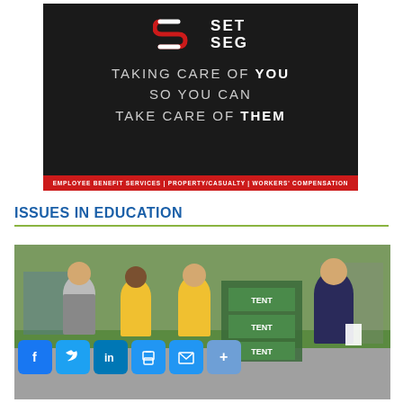[Figure (logo): SET SEG advertisement with dark background. Logo shows stylized S with SET SEG text. Tagline: TAKING CARE OF YOU SO YOU CAN TAKE CARE OF THEM. Footer bar: EMPLOYEE BENEFIT SERVICES | PROPERTY/CASUALTY | WORKERS' COMPENSATION]
ISSUES IN EDUCATION
[Figure (photo): Outdoor photo of four people smiling and posing together, some wearing yellow shirts. They appear to be at a community event with TENT branded boxes visible. Social media sharing icons (Facebook, Twitter, LinkedIn, Print, Email, Plus) overlaid at the bottom left.]